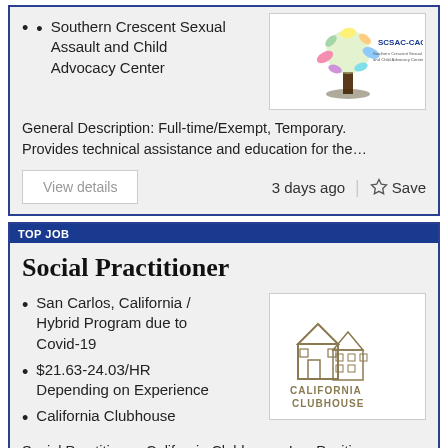Southern Crescent Sexual Assault and Child Advocacy Center
[Figure (logo): SCSAC-CAC Southern Crescent Sexual Assault and Child Advocacy Center logo with colorful tree and hands]
General Description: Full-time/Exempt, Temporary. Provides technical assistance and education for the…
View details   3 days ago   Save
TOP JOB
Social Practitioner
San Carlos, California / Hybrid Program due to Covid-19
$21.63-24.03/HR Depending on Experience
California Clubhouse
[Figure (logo): California Clubhouse logo with house outline illustration]
Social Practitioner, California Clubhouse, Inc. Position